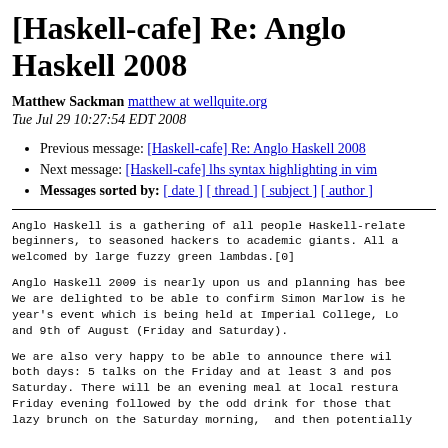[Haskell-cafe] Re: Anglo Haskell 2008
Matthew Sackman matthew at wellquite.org
Tue Jul 29 10:27:54 EDT 2008
Previous message: [Haskell-cafe] Re: Anglo Haskell 2008
Next message: [Haskell-cafe] lhs syntax highlighting in vim
Messages sorted by: [ date ] [ thread ] [ subject ] [ author ]
Anglo Haskell is a gathering of all people Haskell-relate beginners, to seasoned hackers to academic giants. All a welcomed by large fuzzy green lambdas.[0]
Anglo Haskell 2009 is nearly upon us and planning has bee We are delighted to be able to confirm Simon Marlow is he year's event which is being held at Imperial College, Lo and 9th of August (Friday and Saturday).
We are also very happy to be able to announce there wil both days: 5 talks on the Friday and at least 3 and pos Saturday. There will be an evening meal at local restura Friday evening followed by the odd drink for those that lazy brunch on the Saturday morning, and then potentially